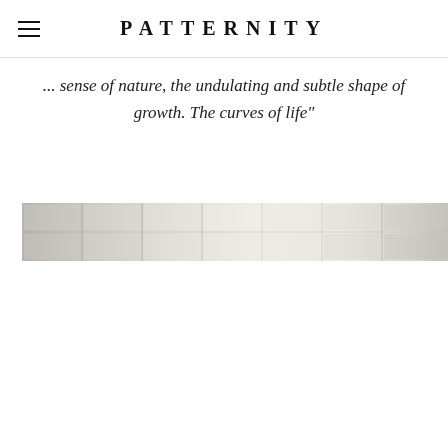PATTERNITY
... sense of nature, the undulating and subtle shape of growth. The curves of life"
[Figure (photo): A horizontal strip photograph showing a building facade with large windows and architectural details, in pale cream and white tones]